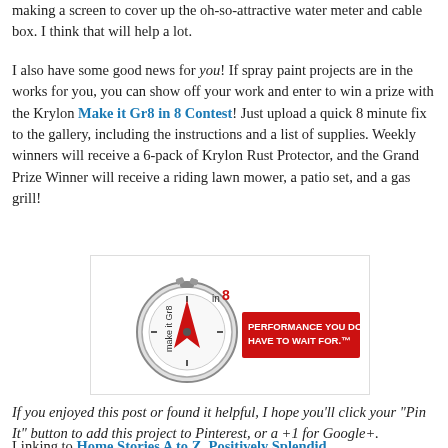making a screen to cover up the oh-so-attractive water meter and cable box. I think that will help a lot.
I also have some good news for you! If spray paint projects are in the works for you, you can show off your work and enter to win a prize with the Krylon Make it Gr8 in 8 Contest! Just upload a quick 8 minute fix to the gallery, including the instructions and a list of supplies. Weekly winners will receive a 6-pack of Krylon Rust Protector, and the Grand Prize Winner will receive a riding lawn mower, a patio set, and a gas grill!
[Figure (logo): Krylon Make it Gr8 in 8 Contest advertisement with stopwatch and red banner reading PERFORMANCE YOU DON'T HAVE TO WAIT FOR.]
If you enjoyed this post or found it helpful, I hope you'll click your "Pin It" button to add this project to Pinterest, or a +1 for Google+.
Linking to Home Stories A to Z, Positively Splendid